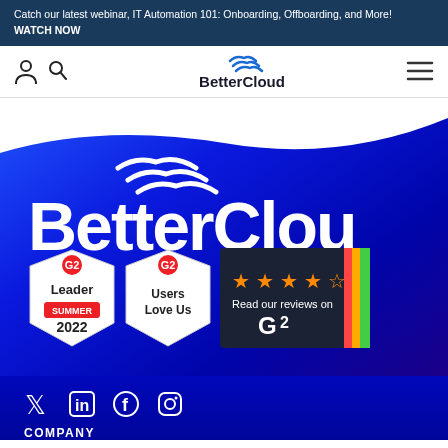Catch our latest webinar, IT Automation 101: Onboarding, Offboarding, and More! WATCH NOW
[Figure (logo): BetterCloud navigation bar with user icon, search icon, BetterCloud logo, and hamburger menu]
[Figure (logo): BetterCloud hero section with large white BetterCloud logo on blue gradient background, G2 Leader Summer 2022 badge, G2 Users Love Us badge, and G2 reviews badge with 4.5 stars]
[Figure (infographic): Footer section with social media icons for Twitter, LinkedIn, Facebook, Instagram and COMPANY section header]